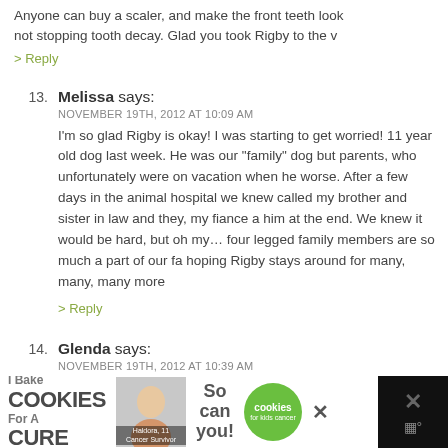Anyone can buy a scaler, and make the front teeth look not stopping tooth decay. Glad you took Rigby to the v
> Reply
13. Melissa says: NOVEMBER 19TH, 2012 AT 10:09 AM
I'm so glad Rigby is okay! I was starting to get worried! 11 year old dog last week. He was our “family” dog but parents, who unfortunately were on vacation when he worse. After a few days in the animal hospital we knew called my brother and sister in law and they, my fiance a him at the end. We knew it would be hard, but oh my… four legged family members are so much a part of our fa hoping Rigby stays around for many, many, many more
> Reply
14. Glenda says: NOVEMBER 19TH, 2012 AT 10:39 AM
[Figure (infographic): Advertisement banner: I Bake COOKIES For A CURE with Haldora, 11 Cancer Survivor branding, photo of person, So can you!, cookies for kids cancer green badge, close X button, and a dark panel with X and sound icon]